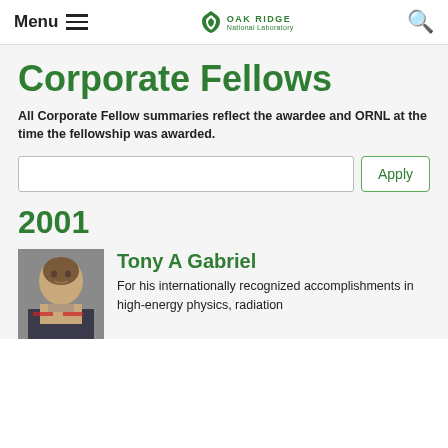Menu | Oak Ridge National Laboratory | Search
Corporate Fellows
All Corporate Fellow summaries reflect the awardee and ORNL at the time the fellowship was awarded.
2001
Tony A Gabriel
For his internationally recognized accomplishments in high-energy physics, radiation